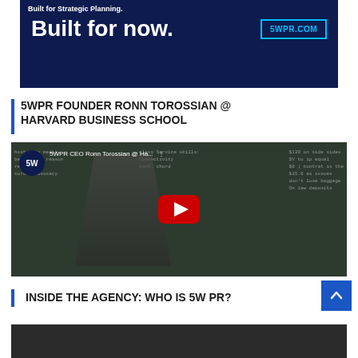[Figure (illustration): Advertisement banner with dark navy background. Top text reads 'Built for Strategic Planning.' followed by large bold 'Built for now.' text and a cyan-bordered button reading '5WPR.COM']
5WPR FOUNDER RONN TOROSSIAN @ HARVARD BUSINESS SCHOOL
[Figure (screenshot): YouTube video thumbnail showing 5WPR CEO Ronn Torossian speaking at Harvard Business School. A person in a dark suit stands in front of a chalkboard. The 5W logo circle is visible top-left with title '5WPR CEO Ronn Torossian @ Ha...' A large red YouTube play button is centered on the image.]
INSIDE THE AGENCY: WHO IS 5W PR?
[Figure (screenshot): Partial bottom video thumbnail, dark background, mostly cropped.]